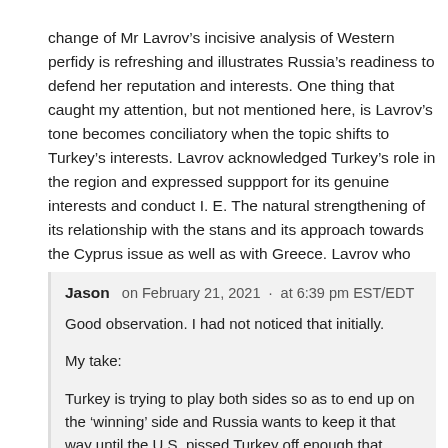change of Mr Lavrov’s incisive analysis of Western perfidy is refreshing and illustrates Russia’s readiness to defend her reputation and interests. One thing that caught my attention, but not mentioned here, is Lavrov’s tone becomes conciliatory when the topic shifts to Turkey’s interests. Lavrov acknowledged Turkey’s role in the region and expressed suppport for its genuine interests and conduct I. E. The natural strengthening of its relationship with the stans and its approach towards the Cyprus issue as well as with Greece. Lavrov who chooses his words concisely displayed a rather benign tone. Many readers may or may not be surprised to see this but it stood out nonetheless.
Reply
Jason on February 21, 2021 · at 6:39 pm EST/EDT
Good observation. I had not noticed that initially.
My take:
Turkey is trying to play both sides so as to end up on the ‘winning’ side and Russia wants to keep it that way until the U.S. pissed Turkey off enough that Turkey ends up on the Russian side.